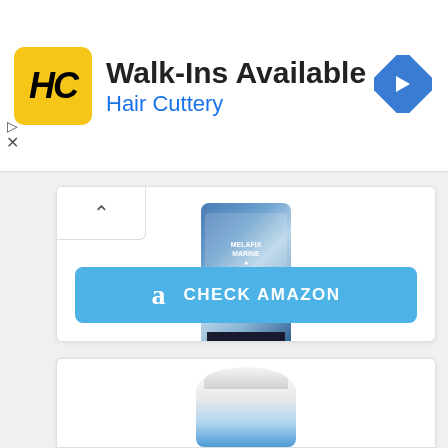[Figure (screenshot): Hair Cuttery advertisement banner with yellow logo, 'Walk-Ins Available' text, and navigation arrow icon]
[Figure (photo): Product image of Melafix Marine bottle, blue label with marine/reef imagery]
MELAFIX MARINE
[Figure (other): Check Amazon button with Amazon 'a' logo in blue]
[Figure (photo): Second product partially visible at bottom - appears to be a jar/container with white lid]